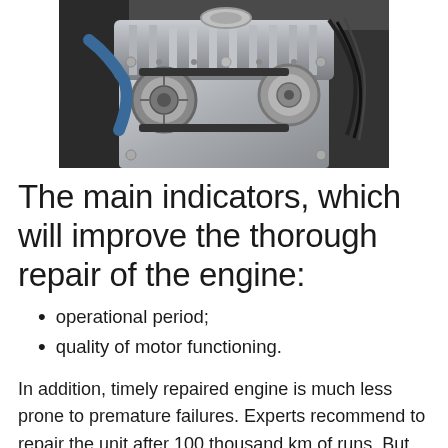[Figure (photo): Close-up photograph of a car engine showing metal components, pulleys, belts, hoses, and mechanical parts.]
The main indicators, which will improve the thorough repair of the engine:
operational period;
quality of motor functioning.
In addition, timely repaired engine is much less prone to premature failures. Experts recommend to repair the unit after 100 thousand km of runs. But all of this is